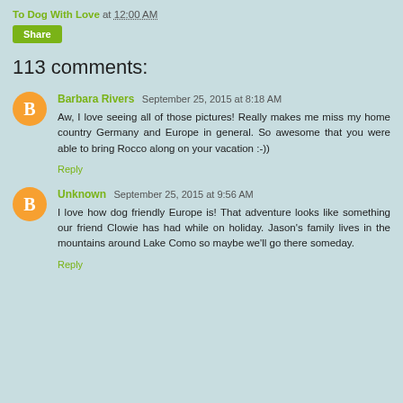To Dog With Love at 12:00 AM
Share
113 comments:
Barbara Rivers September 25, 2015 at 8:18 AM
Aw, I love seeing all of those pictures! Really makes me miss my home country Germany and Europe in general. So awesome that you were able to bring Rocco along on your vacation :-))
Reply
Unknown September 25, 2015 at 9:56 AM
I love how dog friendly Europe is! That adventure looks like something our friend Clowie has had while on holiday. Jason's family lives in the mountains around Lake Como so maybe we'll go there someday.
Reply